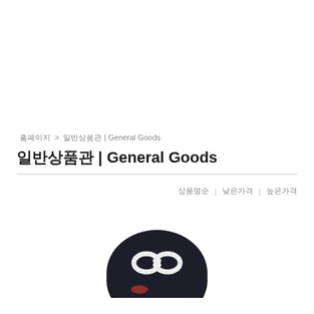홈페이지 > 일반상품관 | General Goods
일반상품관 | General Goods
상품명순 | 낮은가격 | 높은가격
[Figure (photo): A dark-colored coin purse or small round pouch with a white beaded or crocheted infinity-like figure-8 emblem on the front, partially visible at the bottom of the page.]